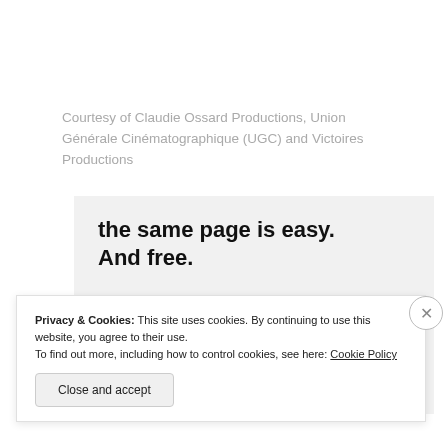Courtesy of Claudie Ossard Productions, Union Générale Cinématographique (UGC) and Victoires Productions
[Figure (screenshot): Advertisement banner with text 'the same page is easy. And free.' with user avatars below on a light gray background]
Privacy & Cookies: This site uses cookies. By continuing to use this website, you agree to their use.
To find out more, including how to control cookies, see here: Cookie Policy
Close and accept